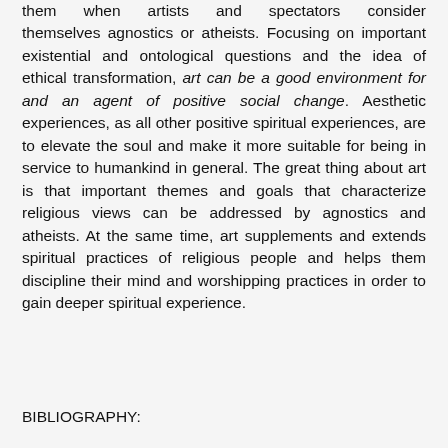them when artists and spectators consider themselves agnostics or atheists. Focusing on important existential and ontological questions and the idea of ethical transformation, art can be a good environment for and an agent of positive social change. Aesthetic experiences, as all other positive spiritual experiences, are to elevate the soul and make it more suitable for being in service to humankind in general. The great thing about art is that important themes and goals that characterize religious views can be addressed by agnostics and atheists. At the same time, art supplements and extends spiritual practices of religious people and helps them discipline their mind and worshipping practices in order to gain deeper spiritual experience.
BIBLIOGRAPHY: